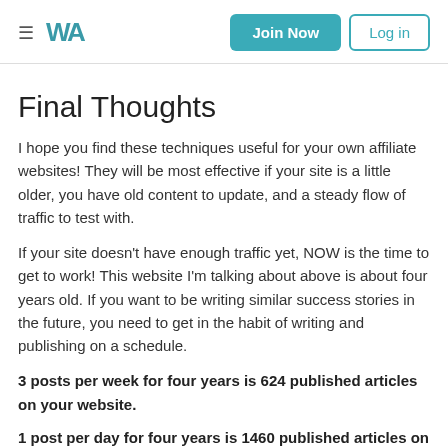≡ WA | Join Now | Log in
Final Thoughts
I hope you find these techniques useful for your own affiliate websites! They will be most effective if your site is a little older, you have old content to update, and a steady flow of traffic to test with.
If your site doesn't have enough traffic yet, NOW is the time to get to work! This website I'm talking about above is about four years old. If you want to be writing similar success stories in the future, you need to get in the habit of writing and publishing on a schedule.
3 posts per week for four years is 624 published articles on your website.
1 post per day for four years is 1460 published articles on your website.